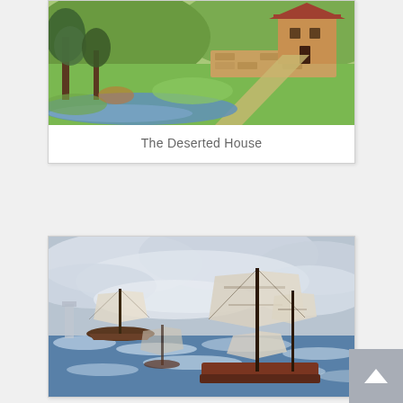[Figure (illustration): Painting of a deserted house in a rural landscape with green hills, a stone wall, a path leading to a brown building with red roof, trees on the left, and a stream in the foreground.]
The Deserted House
[Figure (illustration): Painting of sailing ships on a rough sea with stormy grey-white clouds. Multiple tall-masted sailing vessels are visible on choppy blue-white waves. A scroll-to-top button appears in the bottom right corner.]